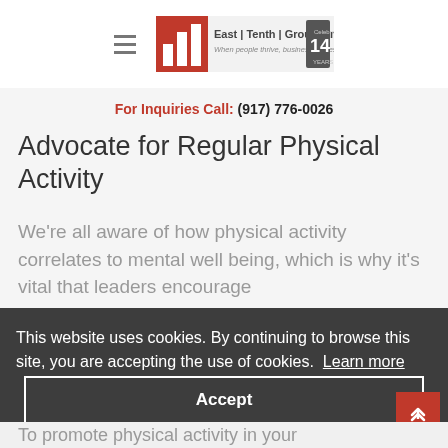East | Tenth | Group | Inc. — When people thrive, business thrives. Celebrating 14 Years
For Inquiries Call: (917) 776-0026
Advocate for Regular Physical Activity
We're all aware of how physical activity correlates to mental well being, which is why it's vital that leaders encourage
This website uses cookies. By continuing to browse this site, you are accepting the use of cookies. Learn more
Accept
To promote physical activity in your